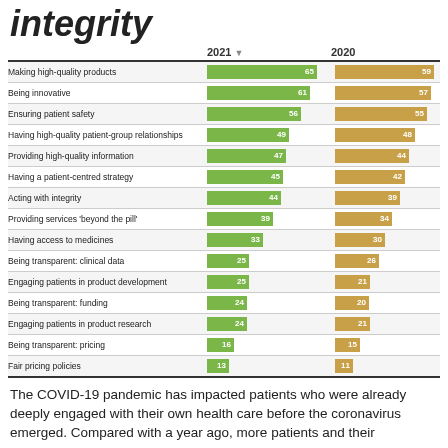integrity
[Figure (grouped-bar-chart): integrity]
The COVID-19 pandemic has impacted patients who were already deeply engaged with their own health care before the coronavirus emerged. Compared with a year ago, more patients and their advocates are seeking quality therapies, innovation, engagement, and integrity from pharmaceutical companies, based on research published today from